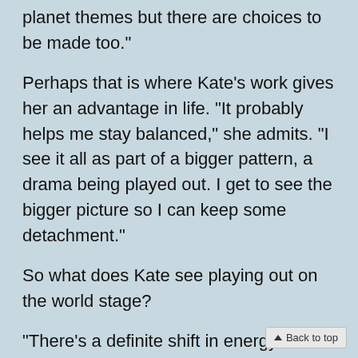planet themes but there are choices to be made too.”
Perhaps that is where Kate’s work gives her an advantage in life. “It probably helps me stay balanced,” she admits. “I see it all as part of a bigger pattern, a drama being played out. I get to see the bigger picture so I can keep some detachment.”
So what does Kate see playing out on the world stage?
“There’s a definite shift in energy dynamics as we turn the corner into 2021. The tough and